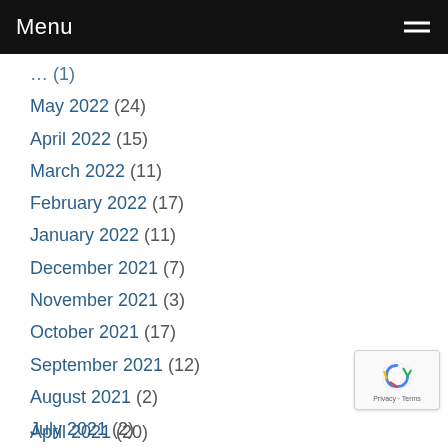Menu
May 2022 (24)
April 2022 (15)
March 2022 (11)
February 2022 (17)
January 2022 (11)
December 2021 (7)
November 2021 (3)
October 2021 (17)
September 2021 (12)
August 2021 (2)
July 2021 (2)
June 2021 (2)
May 2021 (4)
April 2021 (20)